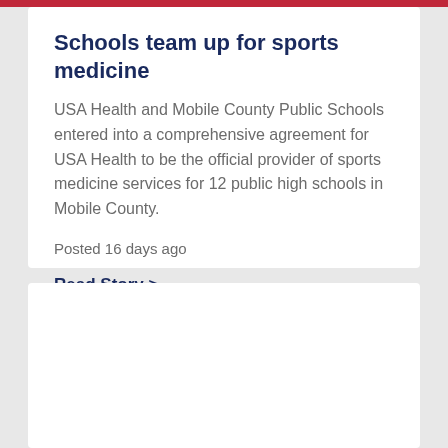Schools team up for sports medicine
USA Health and Mobile County Public Schools entered into a comprehensive agreement for USA Health to be the official provider of sports medicine services for 12 public high schools in Mobile County.
Posted 16 days ago
Read Story >